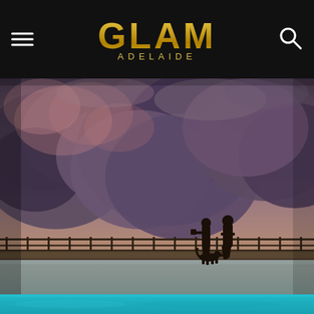GLAM ADELAIDE
[Figure (photo): Dramatic stormy sunset sky with large dark purple and pink clouds over a pier/boardwalk. Silhouettes of two people walking a dog on a railed jetty in the foreground, with calm water visible beyond.]
[Figure (photo): Partial view of turquoise/teal water, bottom strip of image.]